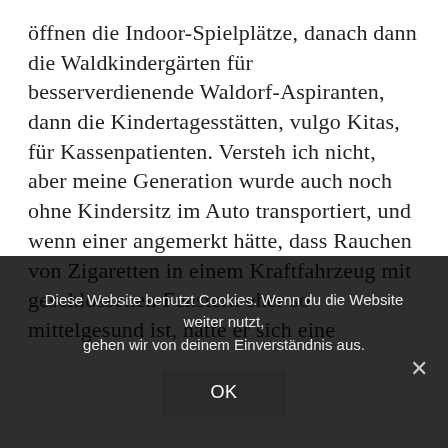öffnen die Indoor-Spielplätze, danach dann die Waldkindergärten für besserverdienende Waldorf-Aspiranten, dann die Kindertagesstätten, vulgo Kitas, für Kassenpatienten. Versteh ich nicht, aber meine Generation wurde auch noch ohne Kindersitz im Auto transportiert, und wenn einer angemerkt hätte, dass Rauchen von Zigaretten in einem Kraftfahrzeug mit geschlossenen Fenstern eher so mittelgesund ist, hätte er sich eine
Diese Website benutzt Cookies. Wenn du die Website weiter nutzt, gehen wir von deinem Einverständnis aus.